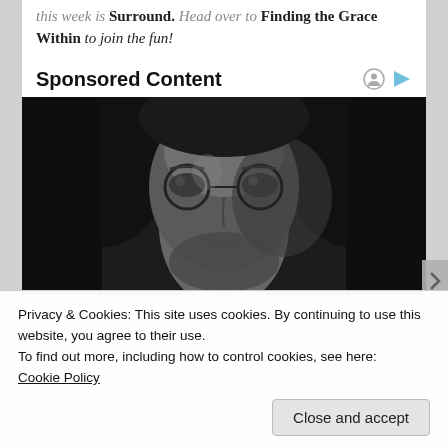this week is Surround. Head over to Finding the Grace Within to join the fun!
Sponsored Content
[Figure (photo): Black and white close-up portrait of a young man with long hair, round glasses, and a beard, looking directly at the camera.]
Privacy & Cookies: This site uses cookies. By continuing to use this website, you agree to their use.
To find out more, including how to control cookies, see here:
Cookie Policy
Close and accept